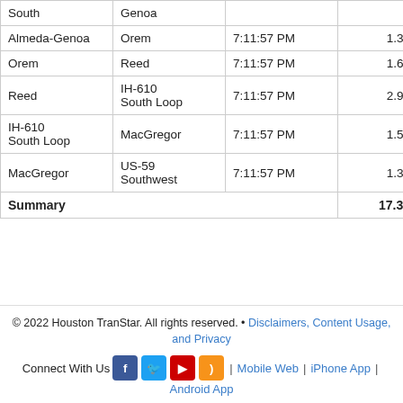| From | To | Updated | Distance (Miles) | Travel Time |
| --- | --- | --- | --- | --- |
| South | Genoa |  |  |  |
| Almeda-Genoa | Orem | 7:11:57 PM | 1.30 | 1:0 |
| Orem | Reed | 7:11:57 PM | 1.60 | 1:2 |
| Reed | IH-610 South Loop | 7:11:57 PM | 2.90 | 2:3 |
| IH-610 South Loop | MacGregor | 7:11:57 PM | 1.50 | 1:2 |
| MacGregor | US-59 Southwest | 7:11:57 PM | 1.30 | 1:1 |
| Summary |  |  | 17.35 | 15:2 |
© 2022 Houston TranStar. All rights reserved. • Disclaimers, Content Usage, and Privacy
Connect With Us | Mobile Web | iPhone App | Android App